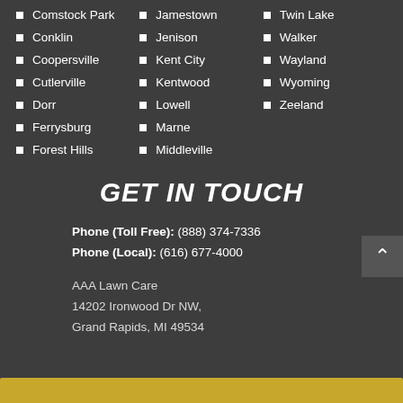Comstock Park
Conklin
Coopersville
Cutlerville
Dorr
Ferrysburg
Forest Hills
Jamestown
Jenison
Kent City
Kentwood
Lowell
Marne
Middleville
Twin Lake
Walker
Wayland
Wyoming
Zeeland
GET IN TOUCH
Phone (Toll Free): (888) 374-7336
Phone (Local): (616) 677-4000
AAA Lawn Care
14202 Ironwood Dr NW,
Grand Rapids, MI 49534